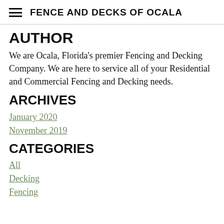FENCE AND DECKS OF OCALA
AUTHOR
We are Ocala, Florida's premier Fencing and Decking Company. We are here to service all of your Residential and Commercial Fencing and Decking needs.
ARCHIVES
January 2020
November 2019
CATEGORIES
All
Decking
Fencing